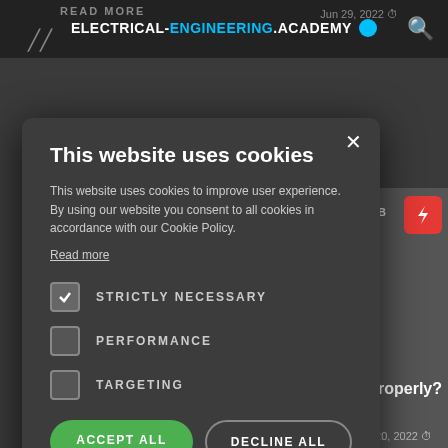READ MORE | ELECTRICAL-ENGINEERING.ACADEMY | Jun 29, 2022
[Figure (screenshot): Background of Electrical-Engineering.Academy website showing course content with a person's face, MSUV 3B label, and lightning bolt button]
This website uses cookies
This website uses cookies to improve user experience. By using our website you consent to all cookies in accordance with our Cookie Policy.
Read more
STRICTLY NECESSARY (checked)
PERFORMANCE (unchecked)
TARGETING (unchecked)
ACCEPT ALL | DECLINE ALL
SHOW DETAILS
Jun 20, 2022